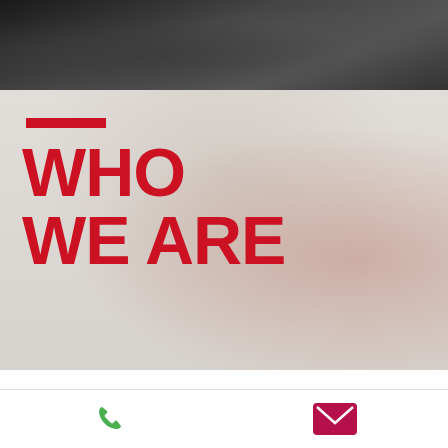[Figure (photo): Dark grayscale photo of people at top of page]
WHO WE ARE
Foster Insurance Agency, Inc., a proud member of the Insurors of Tennessee, is an independent agency representing many financially sound insurance companies, allowing us to place your coverage with top-rated companies. Offering commercial and personal insurance products, we have been serving the Columbia, Tennessee and surrounding Middle Tennessee area
Phone icon and email icon navigation bar